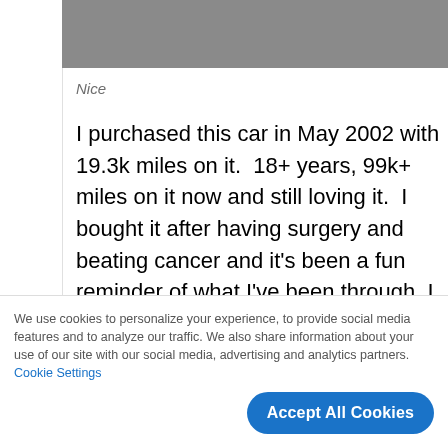[Figure (photo): Dark gray/brown blurred photo, partial view at top of page]
Nice
I purchased this car in May 2002 with 19.3k miles on it.  18+ years, 99k+ miles on it now and still loving it.  I bought it after having surgery and beating cancer and it's been a fun reminder of what I've been through. I get lots of random people who say it's their dream car.  I'm always happy to say Hi.  I have no plans to sell it though
We use cookies to personalize your experience, to provide social media features and to analyze our traffic. We also share information about your use of our site with our social media, advertising and analytics partners. Cookie Settings
Accept All Cookies